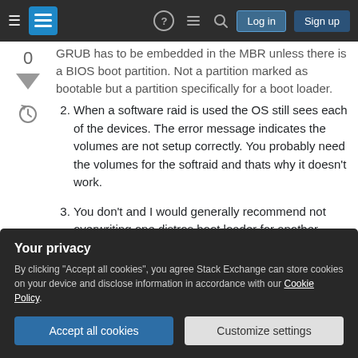Stack Exchange navigation bar with Log in and Sign up buttons
GRUB has to be embedded in the MBR unless there is a BIOS boot partition. Not a partition marked as bootable but a partition specifically for a boot loader.
2. When a software raid is used the OS still sees each of the devices. The error message indicates the volumes are not setup correctly. You probably need the volumes for the softraid and thats why it doesn't work.
3. You don't and I would generally recommend not overwriting one distros boot loader for another.
Your privacy
By clicking "Accept all cookies", you agree Stack Exchange can store cookies on your device and disclose information in accordance with our Cookie Policy.
Accept all cookies   Customize settings
to chainload the other GRUBs.